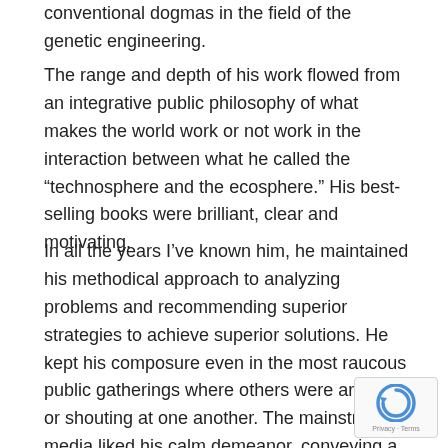conventional dogmas in the field of the genetic engineering.
The range and depth of his work flowed from an integrative public philosophy of what makes the world work or not work in the interaction between what he called the “technosphere and the ecosphere.” His best-selling books were brilliant, clear and motivating.
In all the years I’ve known him, he maintained his methodical approach to analyzing problems and recommending superior strategies to achieve superior solutions. He kept his composure even in the most raucous public gatherings where others were arguing or shouting at one another. The mainstream media liked his calm demeanor, conveying a searing evaluation that went to the root causes of wh… how we produce. He made the cover of Time magazin… symbol of the first Earth Day’s activities nationwide in April